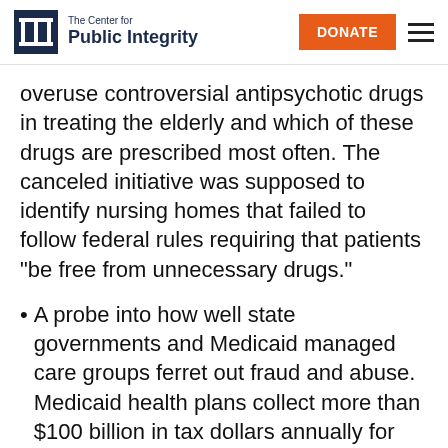The Center for Public Integrity — DONATE
overuse controversial antipsychotic drugs in treating the elderly and which of these drugs are prescribed most often. The canceled initiative was supposed to identify nursing homes that failed to follow federal rules requiring that patients “be free from unnecessary drugs.”
A probe into how well state governments and Medicaid managed care groups ferret out fraud and abuse. Medicaid health plans collect more than $100 billion in tax dollars annually for serving about 30 million low-income people and are set to add millions of new members under